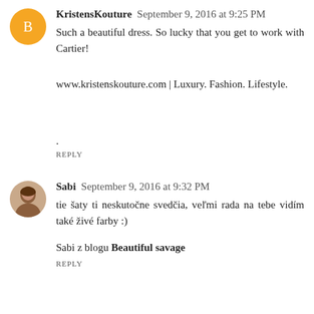KristensKouture  September 9, 2016 at 9:25 PM
Such a beautiful dress. So lucky that you get to work with Cartier!
www.kristenskouture.com | Luxury. Fashion. Lifestyle.
.
REPLY
Sabi  September 9, 2016 at 9:32 PM
tie šaty ti neskutočne svedčia, veľmi rada na tebe vidím také živé farby :)
Sabi z blogu Beautiful savage
REPLY